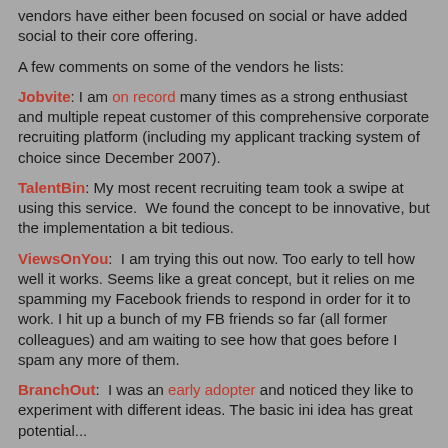vendors have either been focused on social or have added social to their core offering.
A few comments on some of the vendors he lists:
Jobvite: I am on record many times as a strong enthusiast and multiple repeat customer of this comprehensive corporate recruiting platform (including my applicant tracking system of choice since December 2007).
TalentBin: My most recent recruiting team took a swipe at using this service.  We found the concept to be innovative, but the implementation a bit tedious.
ViewsOnYou:  I am trying this out now. Too early to tell how well it works. Seems like a great concept, but it relies on me spamming my Facebook friends to respond in order for it to work. I hit up a bunch of my FB friends so far (all former colleagues) and am waiting to see how that goes before I spam any more of them.
BranchOut:  I was an early adopter and noticed they like to experiment with different ideas. The basic idea has great potential...